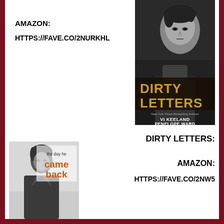AMAZON:
HTTPS://FAVE.CO/2NURKHL
[Figure (photo): Book cover for 'Dirty Letters' by Vi Keeland and Penelope Ward. Black and white photo of a young man looking intensely at the camera. Gold title text 'DIRTY LETTERS' in the lower half. Authors names 'VI KEELAND PENELOPE WARD' at the bottom.]
DIRTY LETTERS:
AMAZON:
HTTPS://FAVE.CO/2NW5
[Figure (photo): Book cover for 'the day he came back'. Black and white photo of a young man looking to the side. Orange text 'came back' with smaller text 'the day he' above it.]